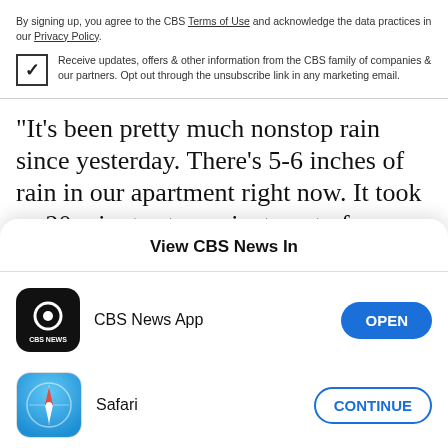By signing up, you agree to the CBS Terms of Use and acknowledge the data practices in our Privacy Policy.
Receive updates, offers & other information from the CBS family of companies & our partners. Opt out through the unsubscribe link in any marketing email.
"It's been pretty much nonstop rain since yesterday. There's 5-6 inches of rain in our apartment right now. It took us 20 minutes to navigate out of our neighborhood due to the heavy flooding in our
View CBS News In
CBS News App
Safari